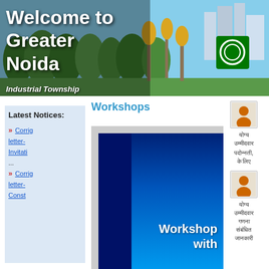[Figure (photo): Header banner showing Greater Noida cityscape with trees, golden sculptures, and buildings in background]
Welcome to Greater Noida
Industrial Township
Workshops
Latest Notices:
» Corrig letter- Invitat...
» Corrig letter- Const...
[Figure (photo): Workshop banner image with blue gradient background showing text 'Workshop with']
योग्य उम्मीदवार
पदोन्नती, के लिए
योग्य उम्मीदवार गणना संबंधित जानकारी